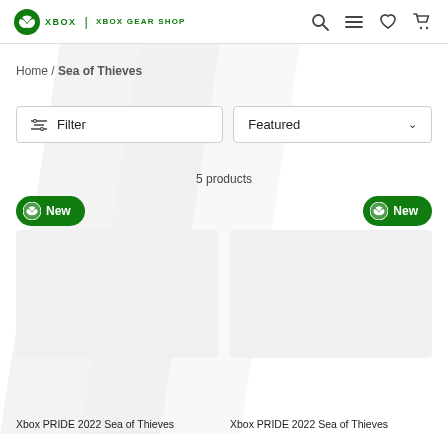Xbox | Xbox Gear Shop
Home / Sea of Thieves
Filter
Featured
5 products
[Figure (screenshot): New badge button (green pill with Xbox icon) for product 1]
[Figure (screenshot): New badge button (green pill with Xbox icon) for product 2]
Xbox PRIDE 2022 Sea of Thieves
Xbox PRIDE 2022 Sea of Thieves